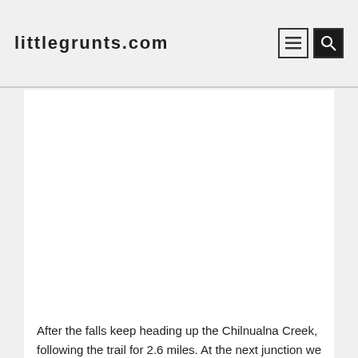littlegrunts.com
[Figure (other): Advertisement placeholder — large white rectangular area below the site header]
After the falls keep heading up the Chilnualna Creek, following the trail for 2.6 miles. At the next junction we went left 0.7 miles to meet